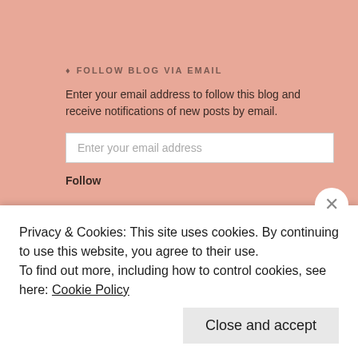♦ FOLLOW BLOG VIA EMAIL
Enter your email address to follow this blog and receive notifications of new posts by email.
Follow
♦ ANITAGOTRAVEL
♦ RECENT POSTS
Climbing Mt. Rainier – My 8 year journey to the top – Part II
Climbing Mt. Rainier – My 8 year journey to the top – Part I
Privacy & Cookies: This site uses cookies. By continuing to use this website, you agree to their use.
To find out more, including how to control cookies, see here: Cookie Policy
Close and accept